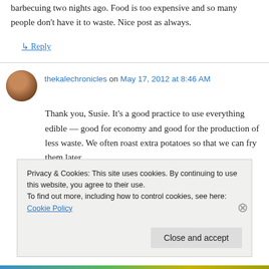barbecuing two nights ago. Food is too expensive and so many people don't have it to waste. Nice post as always.
↳ Reply
thekalechronicles on May 17, 2012 at 8:46 AM
Thank you, Susie. It's a good practice to use everything edible — good for economy and good for the production of less waste. We often roast extra potatoes so that we can fry them later.
Privacy & Cookies: This site uses cookies. By continuing to use this website, you agree to their use.
To find out more, including how to control cookies, see here: Cookie Policy
Close and accept